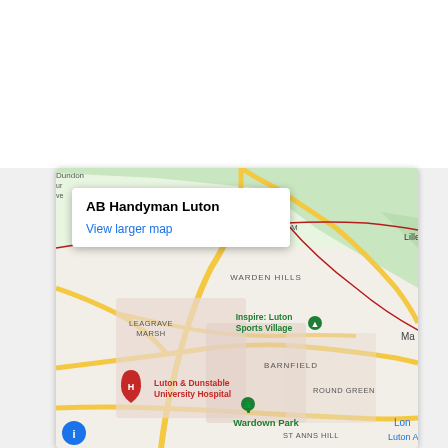[Figure (map): Google Maps screenshot showing AB Handyman Luton location with an info popup, displaying areas including Bramingham, Warden Hills, Leagrave Marsh, Barnfield, Round Green, St Anns Hill. Landmarks include Inspire: Luton Sports Village (green pin), Luton & Dunstable University Hospital (red H pin), Wardown Park (green tree pin). Areas labeled: Lilley to the right, 'Ma' partially visible top right, 'Lon Luton A' bottom right. Blue marker bottom left.]
AB Handyman Luton
View larger map